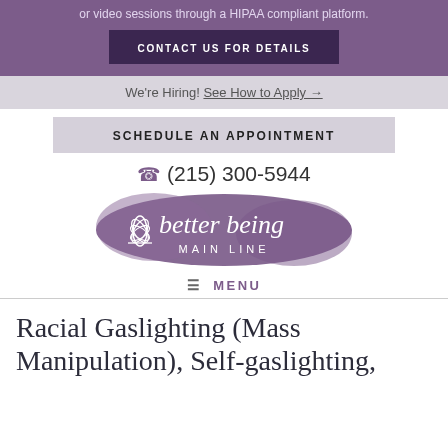or video sessions through a HIPAA compliant platform.
CONTACT US FOR DETAILS
We're Hiring! See How to Apply →
SCHEDULE AN APPOINTMENT
(215) 300-5944
[Figure (logo): Better Being Main Line logo — purple brushstroke background with white lotus icon and white text 'better being' and 'MAIN LINE' below]
≡ MENU
Racial Gaslighting (Mass Manipulation), Self-gaslighting, and the...